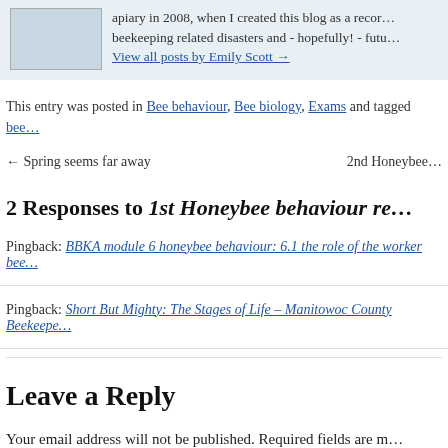apiary in 2008, when I created this blog as a record of beekeeping related disasters and - hopefully! - futu...
View all posts by Emily Scott →
This entry was posted in Bee behaviour, Bee biology, Exams and tagged bee...
← Spring seems far away
2nd Honeybee...
2 Responses to 1st Honeybee behaviour re...
Pingback: BBKA module 6 honeybee behaviour: 6.1 the role of the worker bee...
Pingback: Short But Mighty: The Stages of Life – Manitowoc County Beekeepe...
Leave a Reply
Your email address will not be published. Required fields are m...